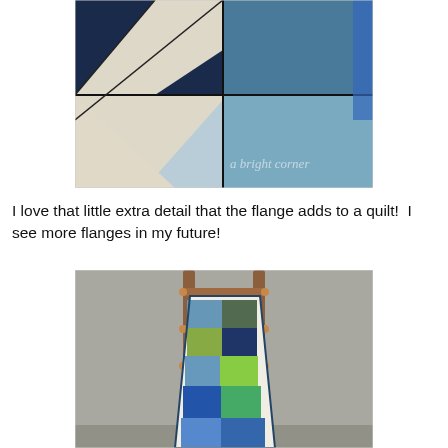[Figure (photo): Close-up photo of a quilt top with blue, teal, cream, and navy paisley and geometric patterned fabric pieces arranged in triangular/diagonal patches, with a watermark reading 'a bright corner' in the lower right]
I love that little extra detail that the flange adds to a quilt!  I see more flanges in my future!
[Figure (photo): Photo of a colorful quilt draped over a wooden ladder-style quilt rack against a gray wall. The quilt features blue, navy, green, and white patchwork triangular and geometric blocks.]